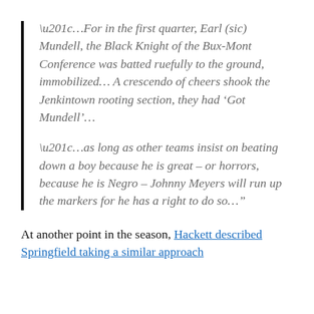“…For in the first quarter, Earl (sic) Mundell, the Black Knight of the Bux-Mont Conference was batted ruefully to the ground, immobilized… A crescendo of cheers shook the Jenkintown rooting section, they had ‘Got Mundell’…
“…as long as other teams insist on beating down a boy because he is great – or horrors, because he is Negro – Johnny Meyers will run up the markers for he has a right to do so…”
At another point in the season, Hackett described Springfield taking a similar approach